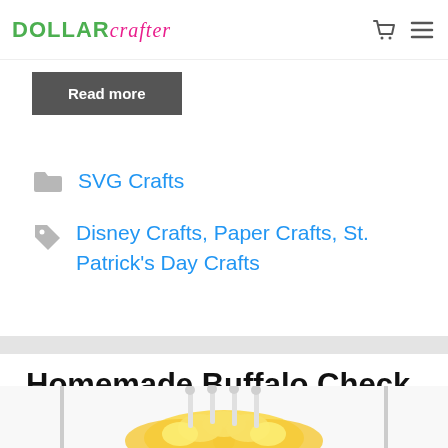Dollar Crafter
Read more
SVG Crafts
Disney Crafts, Paper Crafts, St. Patrick's Day Crafts
Homemade Buffalo Check Easter Wreath
[Figure (photo): Partial view of a homemade Buffalo Check Easter Wreath with yellow flowers and white decorations]